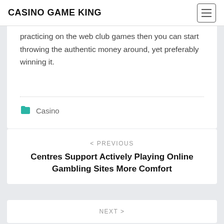CASINO GAME KING
practicing on the web club games then you can start throwing the authentic money around, yet preferably winning it.
Casino
< PREVIOUS
Centres Support Actively Playing Online Gambling Sites More Comfort
NEXT >